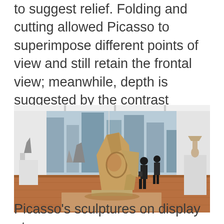to suggest relief. Folding and cutting allowed Picasso to superimpose different points of view and still retain the frontal view; meanwhile, depth is suggested by the contrast between filled and empty spaces.
[Figure (photo): Interior of a modern museum gallery showing Picasso sculptures on display. A large abstract metal sculpture occupies the center foreground on a wooden floor. Visitors are visible in the background near floor-to-ceiling windows overlooking a cityscape. Several white pedestals with smaller sculptures are arranged around the room.]
Picasso's sculptures on display at